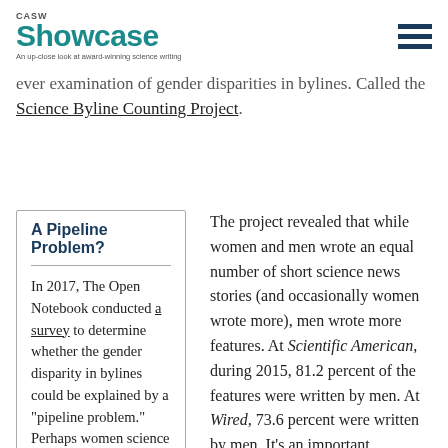CASW Showcase — An up-close look at award-winning science writing
ever examination of gender disparities in bylines. Called the Science Byline Counting Project.
A Pipeline Problem?
In 2017, The Open Notebook conducted a survey to determine whether the gender disparity in bylines could be explained by a "pipeline problem." Perhaps women science journalists do not pitch as many
The project revealed that while women and men wrote an equal number of short science news stories (and occasionally women wrote more), men wrote more features. At Scientific American, during 2015, 81.2 percent of the features were written by men. At Wired, 73.6 percent were written by men. It's an important dichotomy to note, given that features give writers the